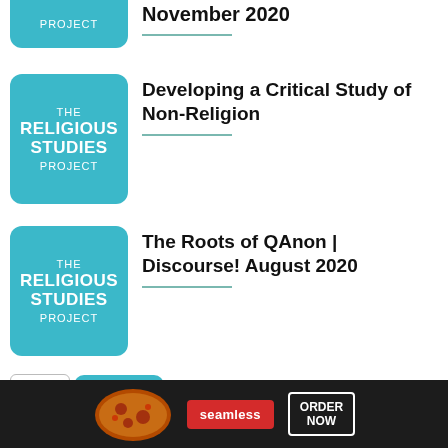[Figure (logo): The Religious Studies Project logo - partial top, teal rounded box showing only PROJECT text at bottom]
November 2020
[Figure (logo): The Religious Studies Project logo - full teal rounded square with THE RELIGIOUS STUDIES PROJECT text]
Developing a Critical Study of Non-Religion
[Figure (logo): The Religious Studies Project logo - full teal rounded square with THE RELIGIOUS STUDIES PROJECT text]
The Roots of QAnon | Discourse! August 2020
The Sacrality of the Secular and
[Figure (photo): Seamless food delivery advertisement banner with pizza image, seamless brand pill, and ORDER NOW button]